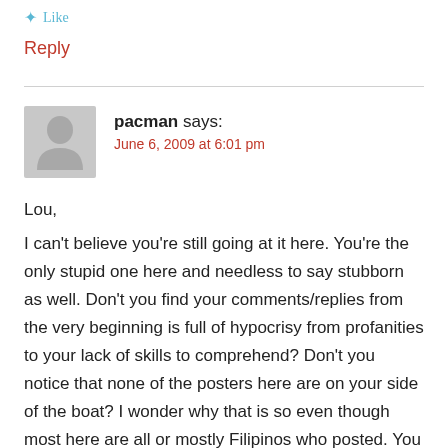Like
Reply
pacman says: June 6, 2009 at 6:01 pm
Lou,
I can't believe you're still going at it here. You're the only stupid one here and needless to say stubborn as well. Don't you find your comments/replies from the very beginning is full of hypocrisy from profanities to your lack of skills to comprehend? Don't you notice that none of the posters here are on your side of the boat? I wonder why that is so even though most here are all or mostly Filipinos who posted. You seriously